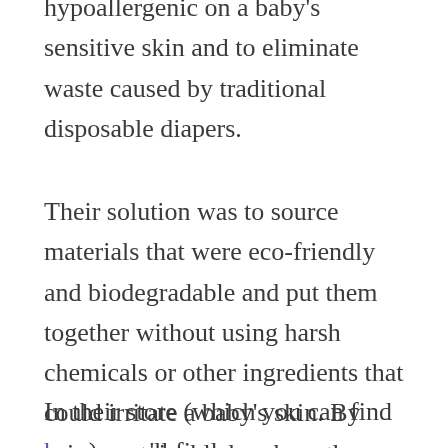hypoallergenic on a baby's sensitive skin and to eliminate waste caused by traditional disposable diapers.
Their solution was to source materials that were eco-friendly and biodegradable and put them together without using harsh chemicals or other ingredients that could irritate a baby's skin. By using sustainable bamboo, they were able to create a diaper that accomplished those goals while steel feeling luxuriously soft at the same time.
In their store (which you can find here), you'll find